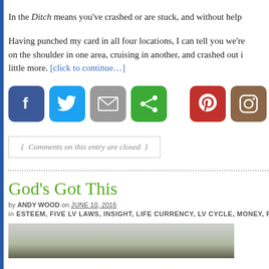In the Ditch means you've crashed or are stuck, and without help
Having punched my card in all four locations, I can tell you we're on the shoulder in one area, cruising in another, and crashed out in little more. [click to continue…]
[Figure (other): Social media share buttons: Facebook, Twitter, Email, Share, Pinterest, Instagram]
{ Comments on this entry are closed }
God’s Got This
by ANDY WOOD on JUNE 10, 2016
in ESTEEM, FIVE LV LAWS, INSIGHT, LIFE CURRENCY, LV CYCLE, MONEY, PR…
[Figure (photo): Partial photo of a person outdoors, cropped at bottom of page]